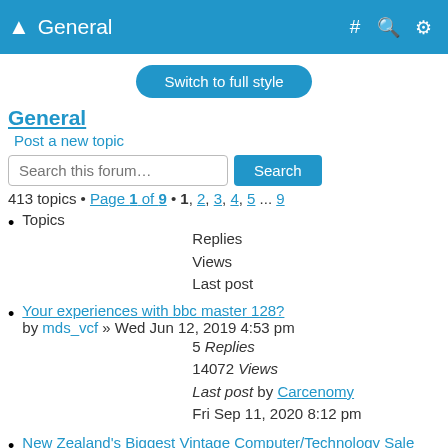General
Switch to full style
General
Post a new topic
Search this forum…  Search
413 topics • Page 1 of 9 • 1, 2, 3, 4, 5 ... 9
Topics
Replies
Views
Last post
Your experiences with bbc master 128?
by mds_vcf » Wed Jun 12, 2019 4:53 pm
5 Replies
14072 Views
Last post by Carcenomy
Fri Sep 11, 2020 8:12 pm
New Zealand's Biggest Vintage Computer/Technology Sale
by Nighthawk » Mon Jul 13, 2020 5:30 pm
1 Replies
3605 Views
Last post by tezza
Tue Jul 14, 2020 2:10 pm